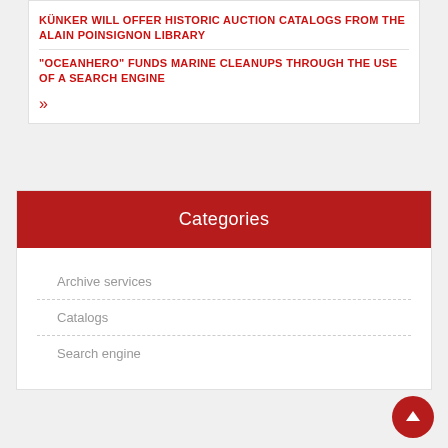KÜNKER WILL OFFER HISTORIC AUCTION CATALOGS FROM THE ALAIN POINSIGNON LIBRARY
"OCEANHERO" FUNDS MARINE CLEANUPS THROUGH THE USE OF A SEARCH ENGINE
»
Categories
Archive services
Catalogs
Search engine